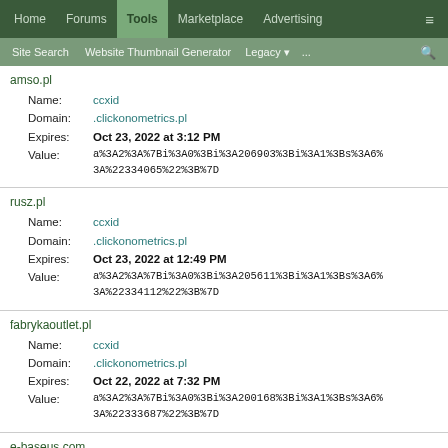Home | Forums | Tools | Marketplace | Advertising
Site Search | Website Thumbnail Generator | Legacy | ... | [search]
amso.pl
Name: ccxid
Domain: .clickonometrics.pl
Expires: Oct 23, 2022 at 3:12 PM
Value: a%3A2%3A%7Bi%3A0%3Bi%3A206903%3Bi%3A1%3Bs%3A6%3A%22334065%22%3B%7D
rusz.pl
Name: ccxid
Domain: .clickonometrics.pl
Expires: Oct 23, 2022 at 12:49 PM
Value: a%3A2%3A%7Bi%3A0%3Bi%3A205611%3Bi%3A1%3Bs%3A6%3A%22334112%22%3B%7D
fabrykaoutlet.pl
Name: ccxid
Domain: .clickonometrics.pl
Expires: Oct 22, 2022 at 7:32 PM
Value: a%3A2%3A%7Bi%3A0%3Bi%3A200168%3Bi%3A1%3Bs%3A6%3A%22333687%22%3B%7D
e-baseus.com